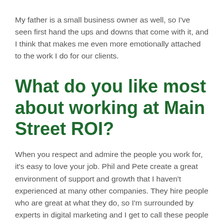My father is a small business owner as well, so I've seen first hand the ups and downs that come with it, and I think that makes me even more emotionally attached to the work I do for our clients.
What do you like most about working at Main Street ROI?
When you respect and admire the people you work for, it's easy to love your job. Phil and Pete create a great environment of support and growth that I haven't experienced at many other companies. They hire people who are great at what they do, so I'm surrounded by experts in digital marketing and I get to call these people my coworkers and friends. Phil and Pete are always looking for feedback on how we can improve both for our